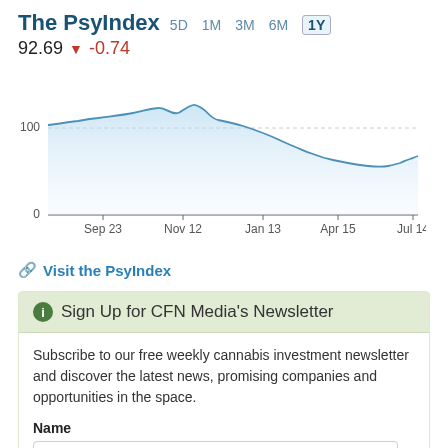The PsyIndex 5D  1M  3M  6M  1Y
92.69 ▼ -0.74
[Figure (continuous-plot): Line chart of The PsyIndex over 1 year, showing values around 100 with a decline and partial recovery, x-axis labels: Sep 23, Nov 12, Jan 13, Apr 15, Jul 14; y-axis labels: 0, 100]
🔗 Visit the PsyIndex
ℹ Sign Up for CFN Media's Newsletter
Subscribe to our free weekly cannabis investment newsletter and discover the latest news, promising companies and opportunities in the space.
Name